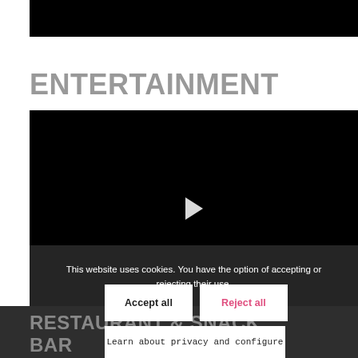[Figure (screenshot): Black image bar at top of page (partially visible, cropped)]
ENTERTAINMENT
[Figure (screenshot): Black video player with white play button in center; cookie consent overlay at bottom showing text: 'This website uses cookies. You have the option of accepting or rejecting their use.']
This website uses cookies. You have the option of accepting or rejecting their use.
Accept all
Reject all
Learn about privacy and configure
RESTAURANT & SNACK BAR